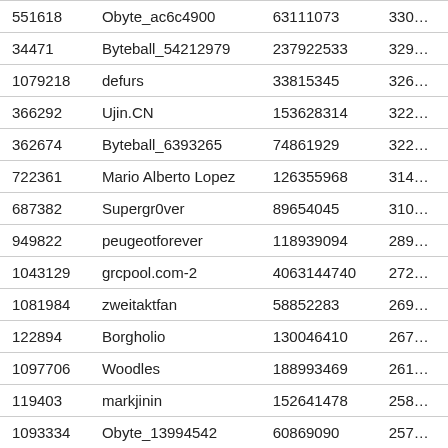| 551618 | Obyte_ac6c4900 | 63111073 | 330… |
| 34471 | Byteball_54212979 | 237922533 | 329… |
| 1079218 | defurs | 33815345 | 326… |
| 366292 | Ujin.CN | 153628314 | 322… |
| 362674 | Byteball_6393265 | 74861929 | 322… |
| 722361 | Mario Alberto Lopez | 126355968 | 314… |
| 687382 | Supergr0ver | 89654045 | 310… |
| 949822 | peugeotforever | 118939094 | 289… |
| 1043129 | grcpool.com-2 | 4063144740 | 272… |
| 1081984 | zweitaktfan | 58852283 | 269… |
| 122894 | Borgholio | 130046410 | 267… |
| 1097706 | Woodles | 188993469 | 261… |
| 119403 | markjinin | 152641478 | 258… |
| 1093334 | Obyte_13994542 | 60869090 | 257… |
| 1050927 | polarbeardj | 95247715 | 247… |
| 1072792 | cryptoriddler | 33941790 | 242… |